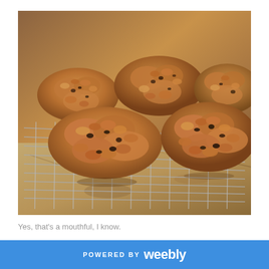[Figure (photo): Photo of oatmeal cookies cooling on a wire rack on a granite countertop. The cookies are golden-brown, chunky, and textured, containing visible oats, blueberries, and walnuts.]
Yes, that's a mouthful, I know.

Maple Blueberry Walnut Oatmeal Cookies.
POWERED BY weebly